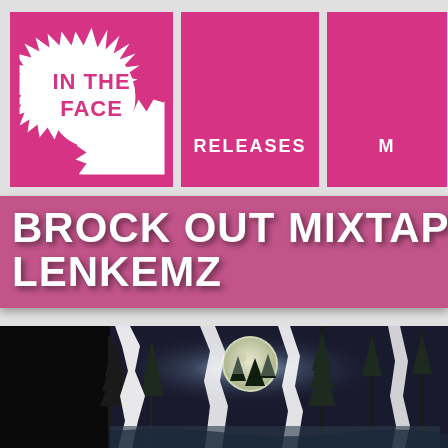[Figure (logo): IN THE FACE logo on pink background with white splat shape]
RELEASES
M
BROCK OUT MIXTAPE C LENKEMZ
[Figure (illustration): Dark forest night scene with full moon, trees, and torn paper effect showing moonlit forest. Black and dark blue tones with white highlights.]